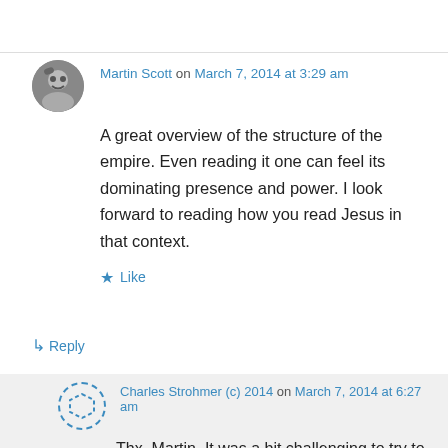Martin Scott on March 7, 2014 at 3:29 am
A great overview of the structure of the empire. Even reading it one can feel its dominating presence and power. I look forward to reading how you read Jesus in that context.
Like
↳ Reply
Charles Strohmer (c) 2014 on March 7, 2014 at 6:27 am
Thx, Martin. It was a bit challenging to try to capture the totalistic feel of Empire in a few